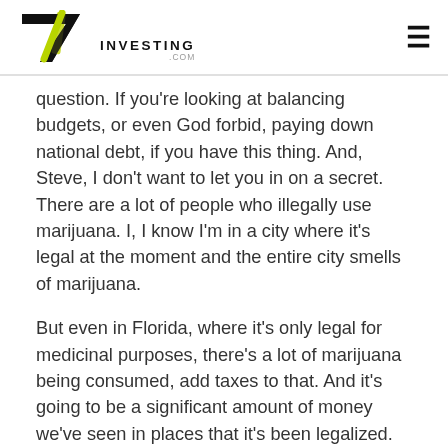7Investing.com
question. If you're looking at balancing budgets, or even God forbid, paying down national debt, if you have this thing. And, Steve, I don't want to let you in on a secret. There are a lot of people who illegally use marijuana. I, I know I'm in a city where it's legal at the moment and the entire city smells of marijuana.
But even in Florida, where it's only legal for medicinal purposes, there's a lot of marijuana being consumed, add taxes to that. And it's going to be a significant amount of money we've seen in places that it's been legalized. But we've also seen sports betting has followed the same pattern when you make a fiscal thing. So,